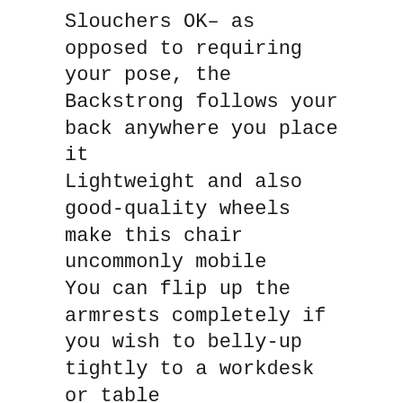Slouchers OK– as opposed to requiring your pose, the Backstrong follows your back anywhere you place it
Lightweight and also good-quality wheels make this chair uncommonly mobile
You can flip up the armrests completely if you wish to belly-up tightly to a workdesk or table
Appealing, retro-futuristic excellent looks
No ridiculous branding (or any visible branding in any way).
275-pound user weight limit.
The Bad
Great deals of exposed plastic.
Minimal extra padding, of modest high quality.